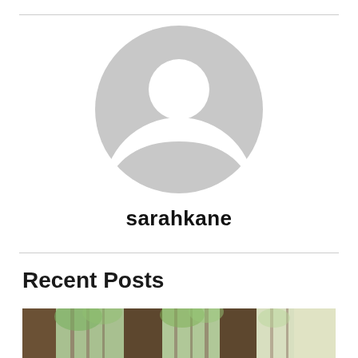[Figure (illustration): Default user avatar icon: a grey circular silhouette showing a person outline with head and shoulders on white background]
sarahkane
Recent Posts
[Figure (photo): A forest scene viewed through what appear to be curtains or vertical fabric strips, showing trees with green foliage and light filtering through]